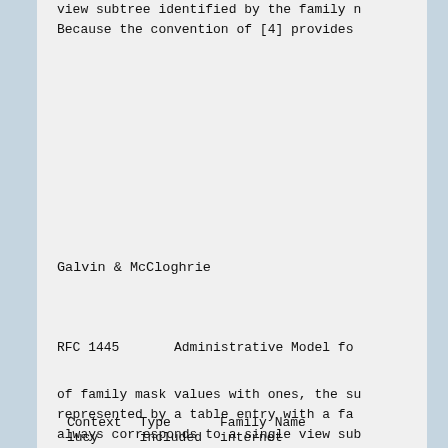view subtree identified by the family n
Because the convention of [4] provides
Galvin & McCloghrie
RFC 1445      Administrative Model fo
of family mask values with ones, the su
represented by a table entry with a fa
always corresponds to a single view sub
| Context | Type | Family Name |
| --- | --- | --- |
| lucy | included | internet |